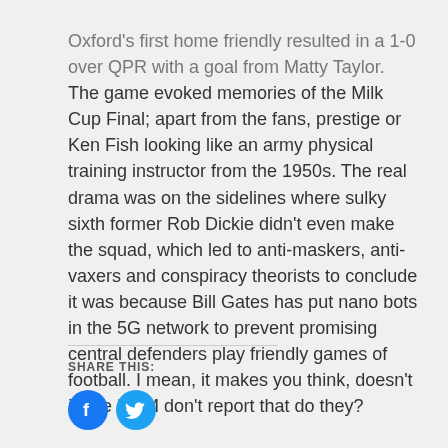Oxford's first home friendly resulted in a 1-0 over QPR with a goal from Matty Taylor. The game evoked memories of the Milk Cup Final; apart from the fans, prestige or Ken Fish looking like an army physical training instructor from the 1950s. The real drama was on the sidelines where sulky sixth former Rob Dickie didn't even make the squad, which led to anti-maskers, anti-vaxers and conspiracy theorists to conclude it was because Bill Gates has put nano bots in the 5G network to prevent promising central defenders play friendly games of football. I mean, it makes you think, doesn't it, the MSM don't report that do they?
SHARE THIS:
[Figure (other): Two circular social media share buttons: Facebook (blue circle with f icon) and Twitter (blue circle with bird icon)]